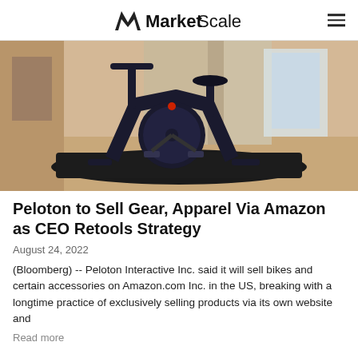MarketScale
[Figure (photo): A Peloton stationary exercise bike displayed on a black mat in a showroom setting with wooden floors and shelving in the background.]
Peloton to Sell Gear, Apparel Via Amazon as CEO Retools Strategy
August 24, 2022
(Bloomberg) -- Peloton Interactive Inc. said it will sell bikes and certain accessories on Amazon.com Inc. in the US, breaking with a longtime practice of exclusively selling products via its own website and
Read more